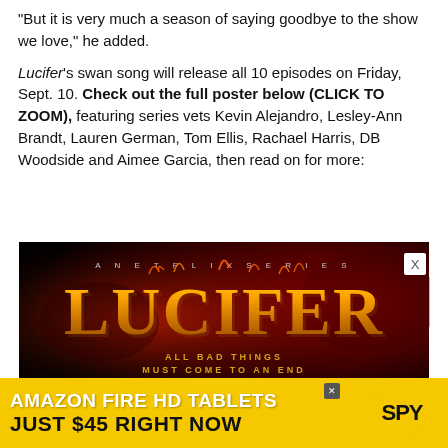“But it is very much a season of saying goodbye to the show we love,” he added.

Lucifer’s swan song will release all 10 episodes on Friday, Sept. 10. Check out the full poster below (CLICK TO ZOOM), featuring series vets Kevin Alejandro, Lesley-Ann Brandt, Lauren German, Tom Ellis, Rachael Harris, DB Woodside and Aimee Garcia, then read on for more:
[Figure (photo): Lucifer Netflix series poster with dark red/black background. Text reads 'A NETFLIX SERIES' at top, large stylized golden flaming 'LUCIFER' logo in center, and 'ALL BAD THINGS MUST COME TO AN END' tagline below.]
[Figure (advertisement): Amazon Fire HD Tablets advertisement on yellow background. White bold text: 'AMAZON FIRE HD TABLETS'. Black bold text: 'JUST $45 RIGHT NOW'. SPY logo on right side with yellow arrow/chevron.]